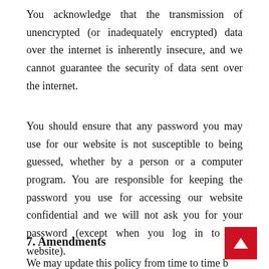You acknowledge that the transmission of unencrypted (or inadequately encrypted) data over the internet is inherently insecure, and we cannot guarantee the security of data sent over the internet.
You should ensure that any password you may use for our website is not susceptible to being guessed, whether by a person or a computer program. You are responsible for keeping the password you use for accessing our website confidential and we will not ask you for your password (except when you log in to our website).
7. Amendments
We may update this policy from time to time b...